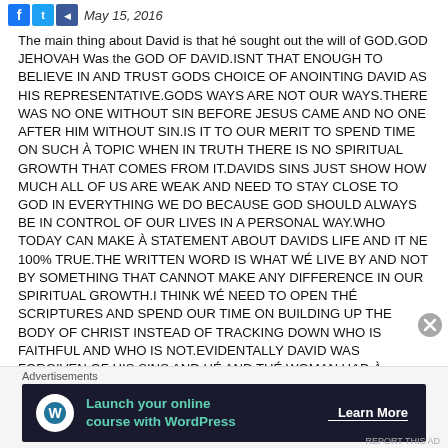May 15, 2016
The main thing about David is that hé sought out the will of GOD.GOD JEHOVAH Was the GOD OF DAVID.ISNT THAT ENOUGH TO BELIEVE IN AND TRUST GODS CHOICE OF ANOINTING DAVID AS HIS REPRESENTATIVE.GODS WAYS ARE NOT OUR WAYS.THERE WAS NO ONE WITHOUT SIN BEFORE JESUS CAME AND NO ONE AFTER HIM WITHOUT SIN.IS IT TO OUR MERIT TO SPEND TIME ON SUCH À TOPIC WHEN IN TRUTH THERE IS NO SPIRITUAL GROWTH THAT COMES FROM IT.DAVIDS SINS JUST SHOW HOW MUCH ALL OF US ARE WEAK AND NEED TO STAY CLOSE TO GOD IN EVERYTHING WE DO BECAUSE GOD SHOULD ALWAYS BE IN CONTROL OF OUR LIVES IN A PERSONAL WAY.WHO TODAY CAN MAKE À STATEMENT ABOUT DAVIDS LIFE AND IT NE 100% TRUE.THE WRITTEN WORD IS WHAT WÉ LIVE BY AND NOT BY SOMETHING THAT CANNOT MAKE ANY DIFFERENCE IN OUR SPIRITUAL GROWTH.I THINK WÉ NEED TO OPEN THÉ SCRIPTURES AND SPEND OUR TIME ON BUILDING UP THE BODY OF CHRIST INSTEAD OF TRACKING DOWN WHO IS FAITHFUL AND WHO IS NOT.EVIDENTALLY DAVID WAS FORGIVEN OF HIS SINS AND HÉ AND THÉ WOMAN HAD À
Advertisements
[Figure (infographic): Dark advertisement banner: 'Launch your online course with WordPress' with 'Learn More' button and WordPress icon]